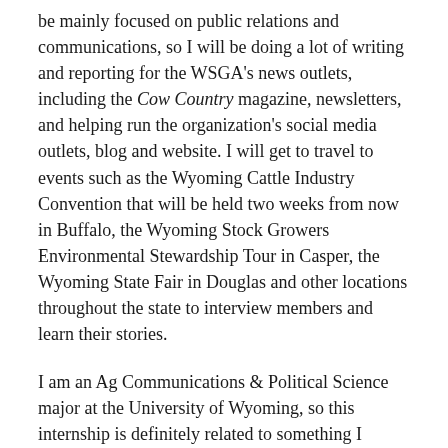be mainly focused on public relations and communications, so I will be doing a lot of writing and reporting for the WSGA's news outlets, including the Cow Country magazine, newsletters, and helping run the organization's social media outlets, blog and website. I will get to travel to events such as the Wyoming Cattle Industry Convention that will be held two weeks from now in Buffalo, the Wyoming Stock Growers Environmental Stewardship Tour in Casper, the Wyoming State Fair in Douglas and other locations throughout the state to interview members and learn their stories.
I am an Ag Communications & Political Science major at the University of Wyoming, so this internship is definitely related to something I would like to pursue as a career after I am finished with school. I have competed in rodeo for as long as I can remember, and the opportunity to compete on the rodeo team at UW is what drew me to Wyoming. I grew up on a